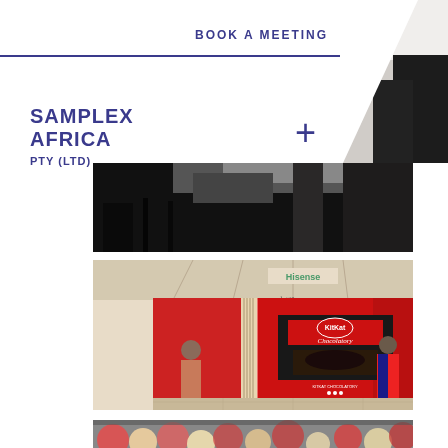BOOK A MEETING
SAMPLEX AFRICA PTY (LTD)
[Figure (photo): Dark photo of chairs and people in what appears to be an event or conference setting]
[Figure (photo): KitKat Chocolatory red branded pop-up booth in a shopping mall with a Hisense sign visible above and visitors entering the display]
[Figure (photo): Close-up photo of colorful sweets or candy, partially visible at bottom of page]
[Figure (photo): Top-right corner photo showing person in dark clothing against white background]